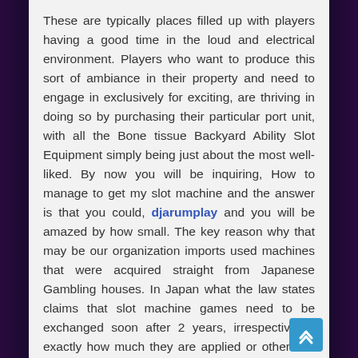These are typically places filled up with players having a good time in the loud and electrical environment. Players who want to produce this sort of ambiance in their property and need to engage in exclusively for exciting, are thriving in doing so by purchasing their particular port unit, with all the Bone tissue Backyard Ability Slot Equipment simply being just about the most well-liked. By now you will be inquiring, How to manage to get my slot machine and the answer is that you could, djarumplay and you will be amazed by how small. The key reason why that may be our organization imports used machines that were acquired straight from Japanese Gambling houses. In Japan what the law states claims that slot machine games need to be exchanged soon after 2 years, irrespective of exactly how much they are applied or otherwise not.
These machines, like the very popular Bone fragments Lawn Skill Slot Equipment charge the Japanese gambling house a good number of thousand    to develop. They are now on s